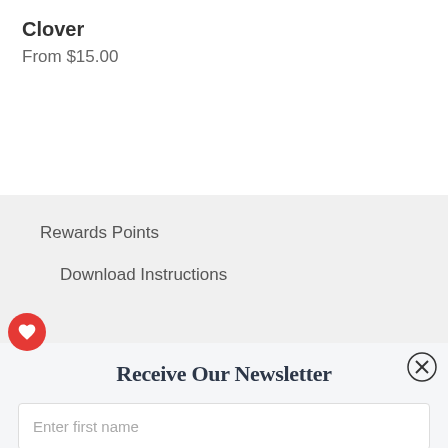Clover
From $15.00
Rewards Points
Download Instructions
Receive Our Newsletter
Enter first name
Enter your email
Subscribe